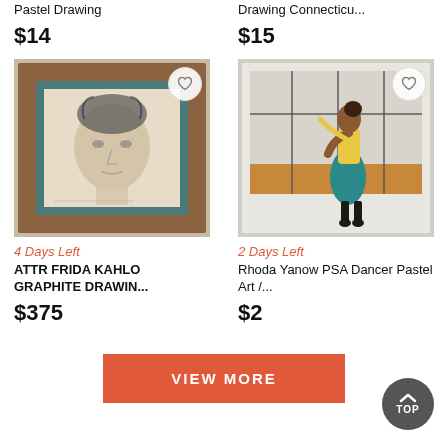Pastel Drawing
$14
Drawing Connecticu...
$15
[Figure (photo): Framed graphite portrait drawing in a wooden frame]
4 Days Left
ATTR FRIDA KAHLO GRAPHITE DRAWIN...
$375
[Figure (photo): Framed painting of a dancer in teal skirt bowing]
2 Days Left
Rhoda Yanow PSA Dancer Pastel Art /...
$2
VIEW MORE